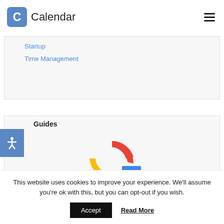Calendar
Startup
Time Management
Guides
[Figure (logo): Partial Google 'G' logo in red, yellow, and blue colors]
This website uses cookies to improve your experience. We'll assume you're ok with this, but you can opt-out if you wish.
Accept   Read More